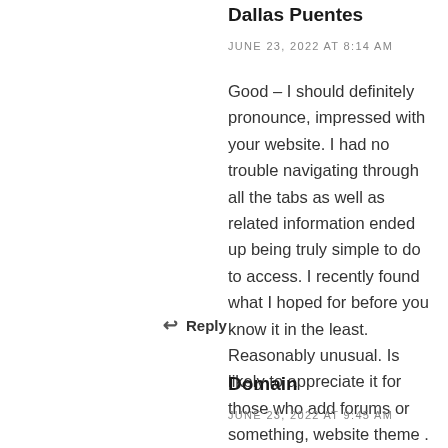Dallas Puentes
JUNE 23, 2022 AT 8:14 AM
Good – I should definitely pronounce, impressed with your website. I had no trouble navigating through all the tabs as well as related information ended up being truly simple to do to access. I recently found what I hoped for before you know it in the least. Reasonably unusual. Is likely to appreciate it for those who add forums or something, website theme . a tones way for your client to communicate. Nice task.
Reply
Domain
JUNE 23, 2022 AT 9:45 AM